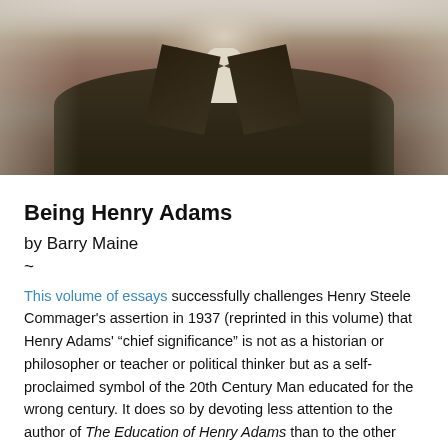[Figure (photo): Black and white / sepia historical photograph of Henry Adams, showing a man in a dark jacket with a large bow tie / cravat, cropped to show torso and partial head area.]
Being Henry Adams
by Barry Maine
~
This volume of essays successfully challenges Henry Steele Commager's assertion in 1937 (reprinted in this volume) that Henry Adams' “chief significance” is not as a historian or philosopher or teacher or political thinker but as a self-proclaimed symbol of the 20th Century Man educated for the wrong century. It does so by devoting less attention to the author of The Education of Henry Adams than to the other